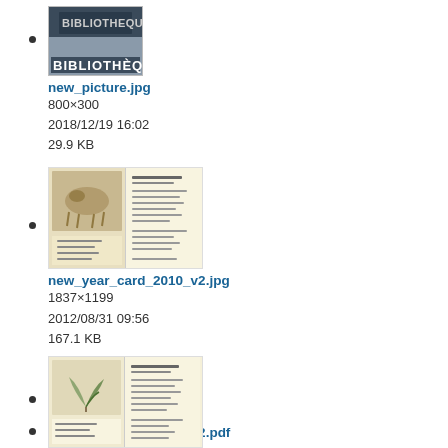new_picture.jpg
800×300
2018/12/19 16:02
29.9 KB
new_year_card_2010_v2.jpg
1837×1199
2012/08/31 09:56
167.1 KB
new_year_card_2010_v2.pdf
2012/08/31 09:56
159.5 KB
(thumbnail image)